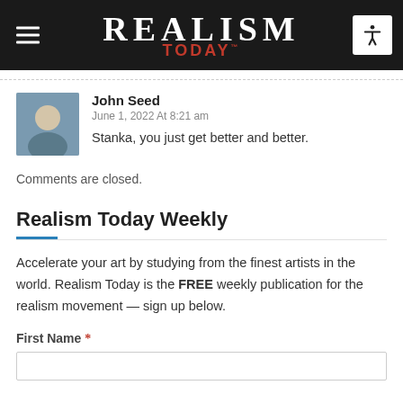REALISM TODAY
John Seed
June 1, 2022 At 8:21 am
Stanka, you just get better and better.
Comments are closed.
Realism Today Weekly
Accelerate your art by studying from the finest artists in the world. Realism Today is the FREE weekly publication for the realism movement — sign up below.
First Name *